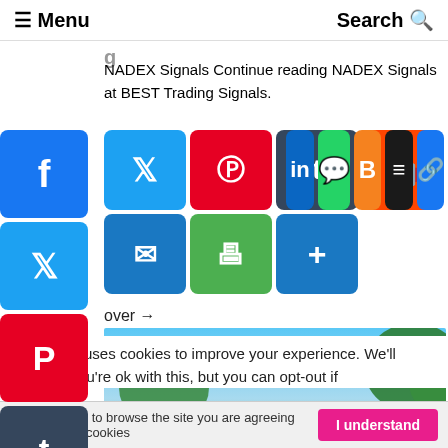≡ Menu   Search Q
NADEX Signals Continue reading NADEX Signals at BEST Trading Signals.
[Figure (screenshot): Social media sharing icons: Facebook, Twitter, Pinterest, Tumblr, Reddit, LinkedIn, WhatsApp, Blogger, Buffer, Copy Link in a grid layout. Second row has Email, Print, Share More buttons. Left sticky column shows Facebook, Twitter, Pinterest, Tumblr, Reddit, LinkedIn, WhatsApp, Blogger, Buffer icons.]
over →
[Figure (photo): Tropical scene with palm trees against a blue sky with clouds]
is website uses cookies to improve your experience. We'll assume you're ok with this, but you can opt-out if
By continuing to browse the site you are agreeing to our use of cookies
I understand